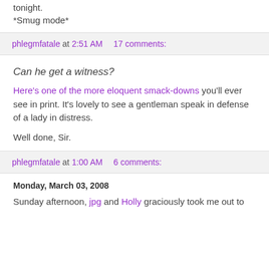tonight.
*Smug mode*
phlegmfatale at 2:51 AM   17 comments:
Can he get a witness?
Here's one of the more eloquent smack-downs you'll ever see in print. It's lovely to see a gentleman speak in defense of a lady in distress.
Well done, Sir.
phlegmfatale at 1:00 AM   6 comments:
Monday, March 03, 2008
Sunday afternoon, jpg and Holly graciously took me out to